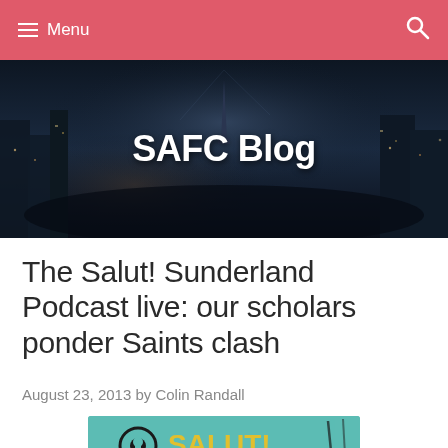Menu
SAFC Blog
The Salut! Sunderland Podcast live: our scholars ponder Saints clash
August 23, 2013 by Colin Randall
[Figure (photo): Partial view of a podcast logo image on a teal/turquoise background with yellow text and black microphone/headphone graphics]